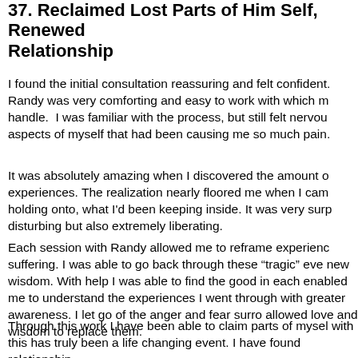37. Reclaimed Lost Parts of Him Self, Renewed Relationship
I found the initial consultation reassuring and felt confident. Randy was very comforting and easy to work with which made it easier to handle.  I was familiar with the process, but still felt nervous about revisiting aspects of myself that had been causing me so much pain.
It was absolutely amazing when I discovered the amount of traumatic past experiences. The realization nearly floored me when I came to understand what I'd been holding onto, what I'd been keeping inside. It was very surprising, disturbing but also extremely liberating.
Each session with Randy allowed me to reframe experiences of pain and suffering. I was able to go back through these "tragic" events with new wisdom. With help I was able to find the good in each experience which enabled me to understand the experiences I went through in a more loving and with greater awareness. I let go of the anger and fear surrounding them and allowed love and wisdom to replace them.
Through this work I have been able to claim parts of myself that were lost, with this has truly been a life changing event. I have found a renewed relationship.